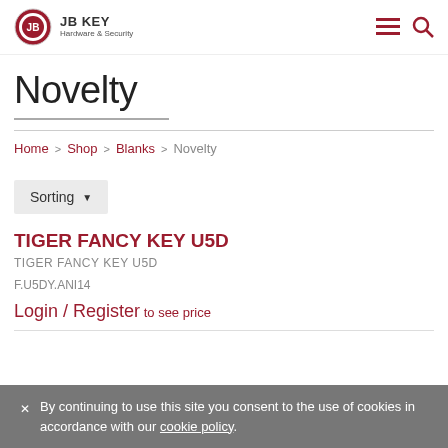JB KEY Hardware & Security
Novelty
Home > Shop > Blanks > Novelty
Sorting
TIGER FANCY KEY U5D
TIGER FANCY KEY U5D
F.U5DY.ANI14
Login / Register to see price
By continuing to use this site you consent to the use of cookies in accordance with our cookie policy.